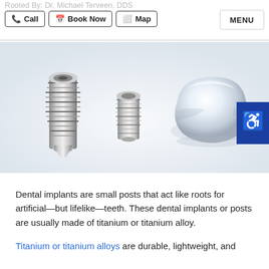Rooted By: Dr. Michael Terveen, DDS  Call  Book Now  Map  MENU
[Figure (photo): Exploded view of a dental implant showing three components: a threaded titanium screw/post on the left, an abutment connector in the middle, and a white ceramic tooth crown on the right, against a light grey/white background. An accessibility icon badge appears on the right edge.]
Dental implants are small posts that act like roots for artificial—but lifelike—teeth. These dental implants or posts are usually made of titanium or titanium alloy.
Titanium or titanium alloys are durable, lightweight, and